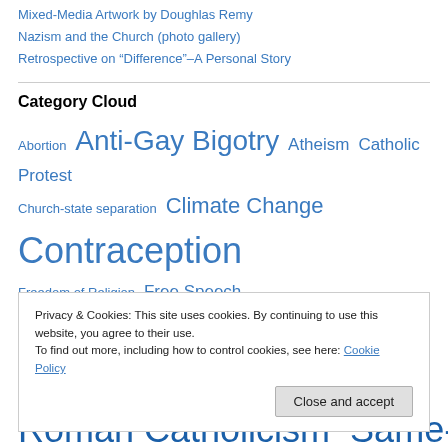Mixed-Media Artwork by Doughlas Remy
Nazism and the Church (photo gallery)
Retrospective on “Difference”–A Personal Story
Category Cloud
Abortion  Anti-Gay Bigotry  Atheism  Catholic Protest  Church-state separation  Climate Change  Contraception  Freedom of Religion  Free Speech  Fundamentalism  Gay Rights  Gil Bailie  Human Rights  LGBT Politics
Privacy & Cookies: This site uses cookies. By continuing to use this website, you agree to their use.
To find out more, including how to control cookies, see here: Cookie Policy
Close and accept
Roman Catholicism  Same-sex